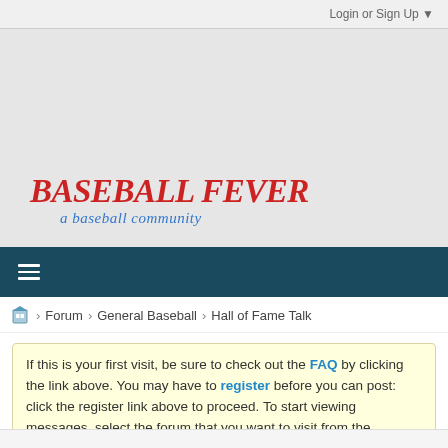Login or Sign Up ▼
[Figure (logo): Baseball Fever - a baseball community logo with red bold italic text and blue cursive subtitle]
≡ (navigation menu hamburger icon)
Forum > General Baseball > Hall of Fame Talk
If this is your first visit, be sure to check out the FAQ by clicking the link above. You may have to register before you can post: click the register link above to proceed. To start viewing messages, select the forum that you want to visit from the selection below.
New project idea